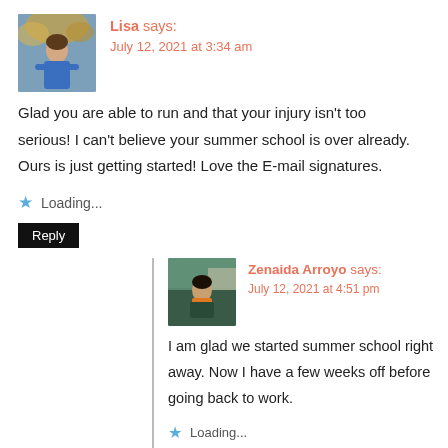[Figure (photo): Avatar photo of Lisa, a woman in a blue top outdoors with autumn leaves]
Lisa says:
July 12, 2021 at 3:34 am
Glad you are able to run and that your injury isn't too serious! I can't believe your summer school is over already. Ours is just getting started! Love the E-mail signatures.
Loading...
Reply
[Figure (photo): Avatar photo of Zenaida Arroyo, a person wearing an orange scarf outdoors]
Zenaida Arroyo says:
July 12, 2021 at 4:51 pm
I am glad we started summer school right away. Now I have a few weeks off before going back to work.
Loading...
Reply